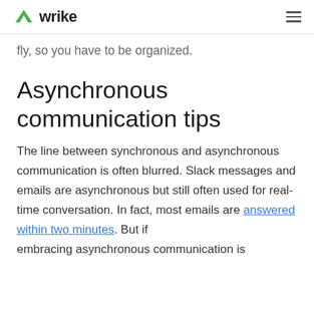wrike
fly, so you have to be organized.
Asynchronous communication tips
The line between synchronous and asynchronous communication is often blurred. Slack messages and emails are asynchronous but still often used for real-time conversation. In fact, most emails are answered within two minutes. But if embracing asynchronous communication is
embracing asynchronous communication is